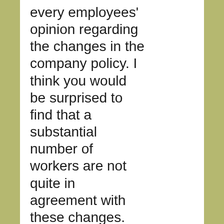every employees' opinion regarding the changes in the company policy. I think you would be surprised to find that a substantial number of workers are not quite in agreement with these changes. Please reconsider.